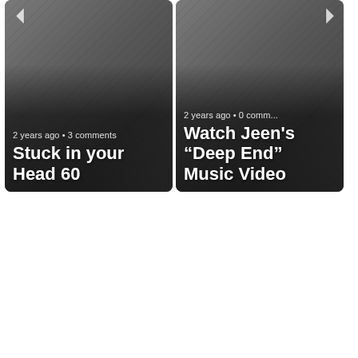[Figure (screenshot): Two video/article thumbnail cards side by side. Left card: '2 years ago • 3 comments' meta text, title 'Stuck in your Head 60', with left navigation arrow. Right card: '2 years ago • 0 comment' meta text (partially cut off), title 'Watch Jeen’s “Deep End” Music Video', with right navigation arrow. Both cards have dark grey textured backgrounds with white text.]